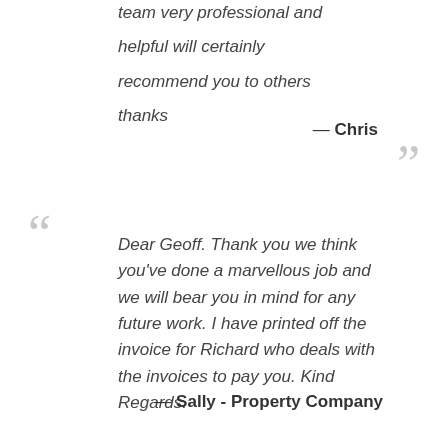team very professional and helpful will certainly recommend you to others thanks
— Chris
Dear Geoff. Thank you we think you've done a marvellous job and we will bear you in mind for any future work. I have printed off the invoice for Richard who deals with the invoices to pay you. Kind Regards.
— Sally - Property Company